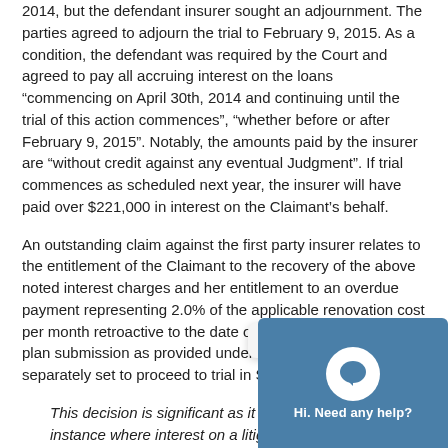2014, but the defendant insurer sought an adjournment. The parties agreed to adjourn the trial to February 9, 2015. As a condition, the defendant was required by the Court and agreed to pay all accruing interest on the loans “commencing on April 30th, 2014 and continuing until the trial of this action commences”, “whether before or after February 9, 2015”. Notably, the amounts paid by the insurer are “without credit against any eventual Judgment”. If trial commences as scheduled next year, the insurer will have paid over $221,000 in interest on the Claimant’s behalf.
An outstanding claim against the first party insurer relates to the entitlement of the Claimant to the recovery of the above noted interest charges and her entitlement to an overdue payment representing 2.0% of the applicable renovation cost per month retroactive to the date of the original treatment plan submission as provided under the SABS. This claim is separately set to proceed to trial in September, 2014.
This decision is significant as it represents the first instance where interest on a litigation loan has been recovered from an insurer here in Ontario with the prospect of a full interest recovery pending the outcome of the trial(s).